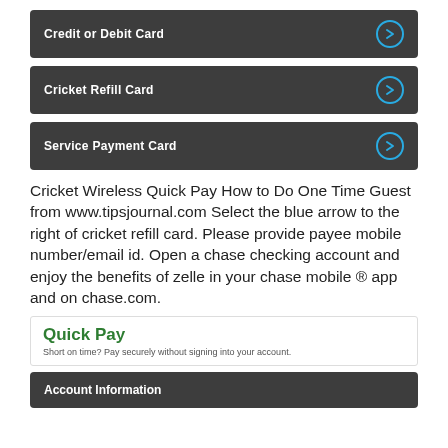Credit or Debit Card
Cricket Refill Card
Service Payment Card
Cricket Wireless Quick Pay How to Do One Time Guest from www.tipsjournal.com Select the blue arrow to the right of cricket refill card. Please provide payee mobile number/email id. Open a chase checking account and enjoy the benefits of zelle in your chase mobile ® app and on chase.com.
Quick Pay
Short on time? Pay securely without signing into your account.
Account Information